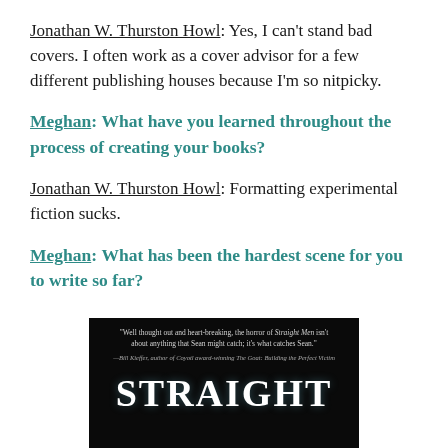Jonathan W. Thurston Howl: Yes, I can't stand bad covers. I often work as a cover advisor for a few different publishing houses because I'm so nitpicky.
Meghan: What have you learned throughout the process of creating your books?
Jonathan W. Thurston Howl: Formatting experimental fiction sucks.
Meghan: What has been the hardest scene for you to write so far?
[Figure (photo): Book cover image for 'Straight Men' by Jonathan W. Thurston Howl on a dark background, featuring a blurb: 'Well thought out and heart-breaking, the horror of Straight Men isn't about anything that Sean might catch; it's what catches Sean.' — Bill Kieffer, author of Coyotl award-winning The Goat: Building the Perfect Victim. The title 'STRAIGHT' appears in large white letters.]